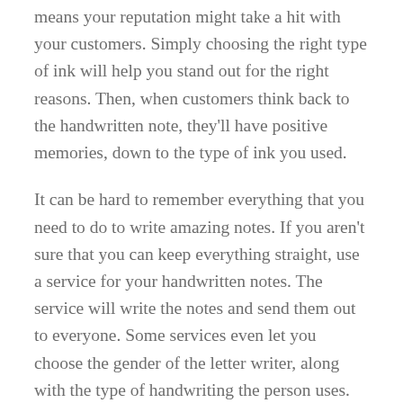means your reputation might take a hit with your customers. Simply choosing the right type of ink will help you stand out for the right reasons. Then, when customers think back to the handwritten note, they'll have positive memories, down to the type of ink you used.
It can be hard to remember everything that you need to do to write amazing notes. If you aren't sure that you can keep everything straight, use a service for your handwritten notes. The service will write the notes and send them out to everyone. Some services even let you choose the gender of the letter writer, along with the type of handwriting the person uses. This type of customization ensures that your customers receive the perfect handwritten notes.